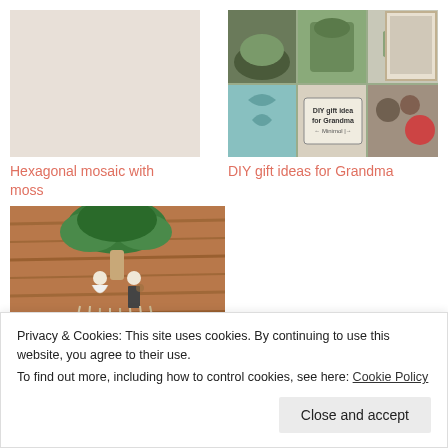[Figure (photo): Hexagonal mosaic with moss — placeholder image (not visible in original at top-left)]
Hexagonal mosaic with moss
[Figure (photo): DIY gift ideas for Grandma — collage of craft items including plants, macrame, and accessories]
DIY gift ideas for Grandma
[Figure (photo): Macrame tree with bride and groom figures hanging against wooden background]
How to make a macrame tree with bride and groom
Privacy & Cookies: This site uses cookies. By continuing to use this website, you agree to their use.
To find out more, including how to control cookies, see here: Cookie Policy
Close and accept
approach